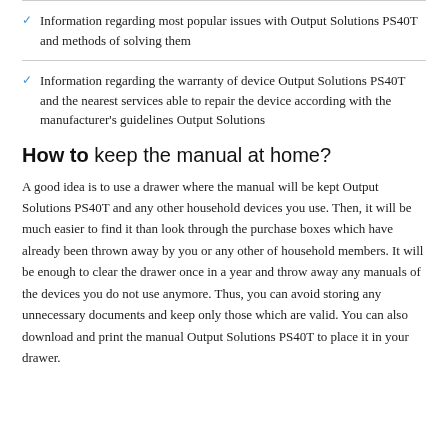Information regarding most popular issues with Output Solutions PS40T and methods of solving them
Information regarding the warranty of device Output Solutions PS40T and the nearest services able to repair the device according with the manufacturer's guidelines Output Solutions
How to keep the manual at home?
A good idea is to use a drawer where the manual will be kept Output Solutions PS40T and any other household devices you use. Then, it will be much easier to find it than look through the purchase boxes which have already been thrown away by you or any other of household members. It will be enough to clear the drawer once in a year and throw away any manuals of the devices you do not use anymore. Thus, you can avoid storing any unnecessary documents and keep only those which are valid. You can also download and print the manual Output Solutions PS40T to place it in your drawer.